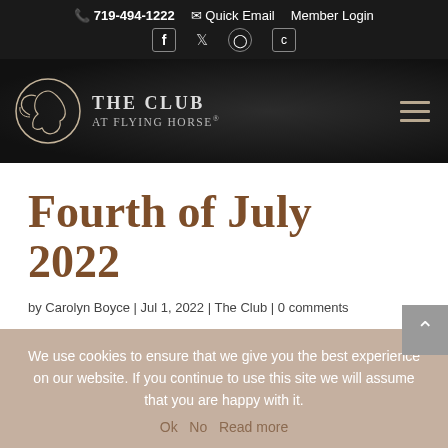719-494-1222  Quick Email  Member Login
[Figure (logo): The Club at Flying Horse logo with horse head graphic and text]
Fourth of July 2022
by Carolyn Boyce | Jul 1, 2022 | The Club | 0 comments
We use cookies to ensure that we give you the best experience on our website. If you continue to use this site we will assume that you are happy with it.
Ok  No  Read more